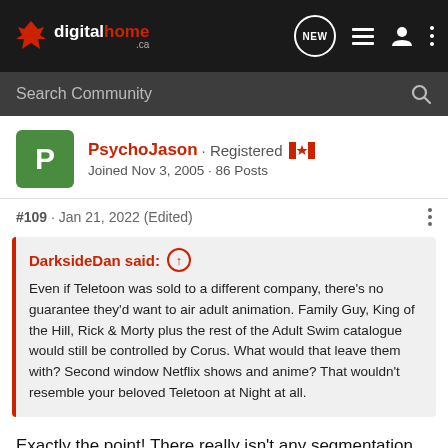digitalhome.ca - NEW navigation bar with search
Search Community
PsychoJason · Registered
Joined Nov 3, 2005 · 86 Posts
#109 · Jan 21, 2022 (Edited)
DarksideDan said: ↑
Even if Teletoon was sold to a different company, there's no guarantee they'd want to air adult animation. Family Guy, King of the Hill, Rick & Morty plus the rest of the Adult Swim catalogue would still be controlled by Corus. What would that leave them with? Second window Netflix shows and anime? That wouldn't resemble your beloved Teletoon at Night at all.
Exactly the point! There really isn't any segmentation among cable channels anymore. Any particular channel will now air programs for a specific demographic 24/7, much to the desire...